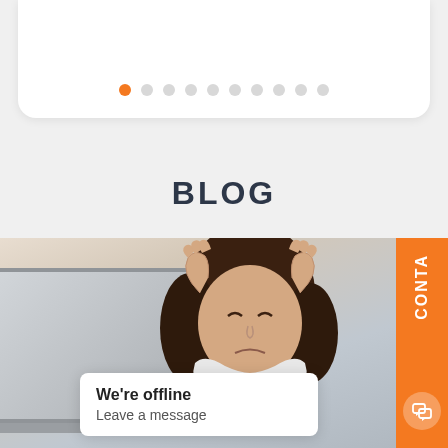[Figure (screenshot): Carousel pagination dots — one orange active dot followed by nine grey dots on a white card]
BLOG
[Figure (photo): A stressed woman sitting at a laptop, holding her head in her hands with a distressed expression. A chat popup reads 'We're offline / Leave a message'. An orange contact button is on the right edge.]
We're offline
Leave a message